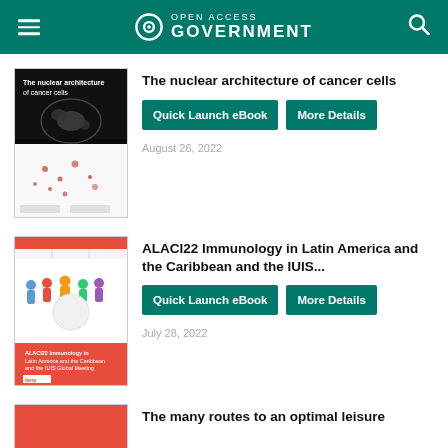OPEN ACCESS GOVERNMENT
[Figure (illustration): Book cover: 'The nuclear architecture of cancer cells' with dark microscopy image of cells]
The nuclear architecture of cancer cells
Quick Launch eBook
More Details
August 26, 2022
[Figure (illustration): Book cover: 'ALACI22 Immunology in Latin America and the Caribbean and the IUIS Global Meeting' with red cover and group illustration]
ALACI22 Immunology in Latin America and the Caribbean and the IUIS...
Quick Launch eBook
More Details
July 28, 2022
[Figure (illustration): Book cover: red cover, partially visible]
The many routes to an optimal leisure